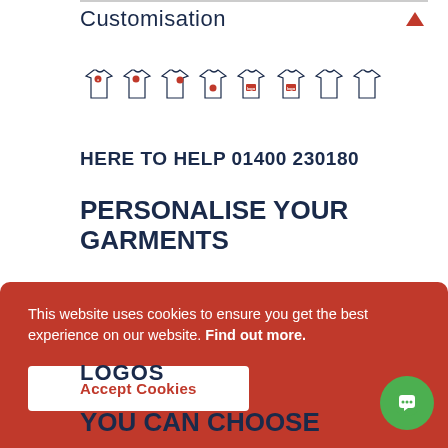Customisation
[Figure (illustration): Row of illustrated t-shirts with various logo placement positions highlighted in red]
HERE TO HELP 01400 230180
PERSONALISE YOUR GARMENTS
This website uses cookies to ensure you get the best experience on our website. Find out more.
Accept Cookies
LOGOS
YOU CAN CHOOSE